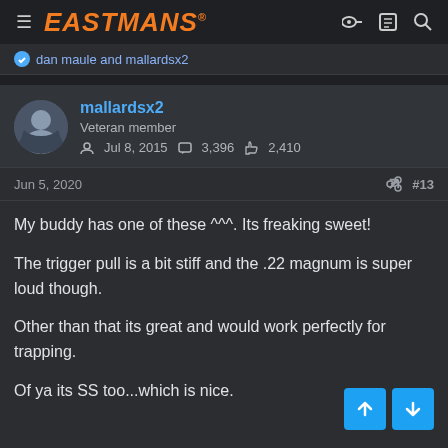EASTMANS
dan maule and mallardsx2
mallardsx2
Veteran member
Jul 8, 2015   3,396   2,410
Jun 5, 2020   #13
My buddy has one of these ^^^. Its freaking sweet!

The trigger pull is a bit stiff and the .22 magnum is super loud though.

Other than that its great and would work perfectly for trapping.

Of ya its SS too...which is nice.